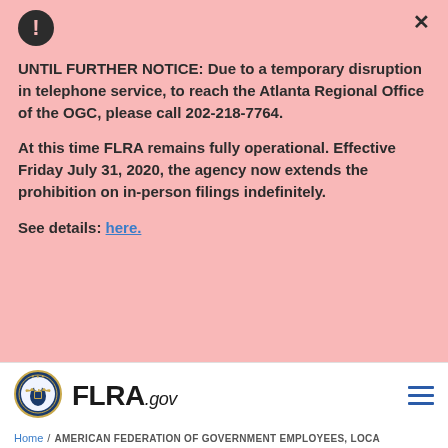UNTIL FURTHER NOTICE: Due to a temporary disruption in telephone service, to reach the Atlanta Regional Office of the OGC, please call 202-218-7764. At this time FLRA remains fully operational. Effective Friday July 31, 2020, the agency now extends the prohibition on in-person filings indefinitely. See details: here.
[Figure (logo): FLRA.gov logo with official seal]
Home / AMERICAN FEDERATION OF GOVERNMENT EMPLOYEES, LOCA